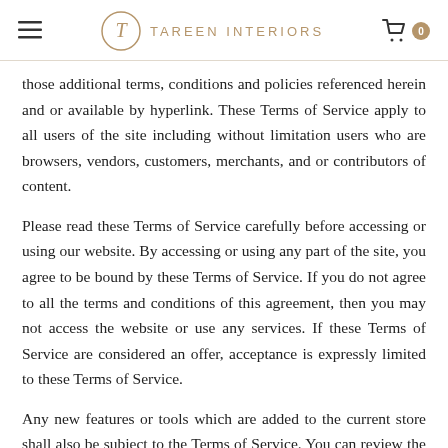TAREEN INTERIORS
those additional terms, conditions and policies referenced herein and or available by hyperlink. These Terms of Service apply to all users of the site including without limitation users who are browsers, vendors, customers, merchants, and or contributors of content.
Please read these Terms of Service carefully before accessing or using our website. By accessing or using any part of the site, you agree to be bound by these Terms of Service. If you do not agree to all the terms and conditions of this agreement, then you may not access the website or use any services. If these Terms of Service are considered an offer, acceptance is expressly limited to these Terms of Service.
Any new features or tools which are added to the current store shall also be subject to the Terms of Service. You can review the most current version of the Terms of Service at any